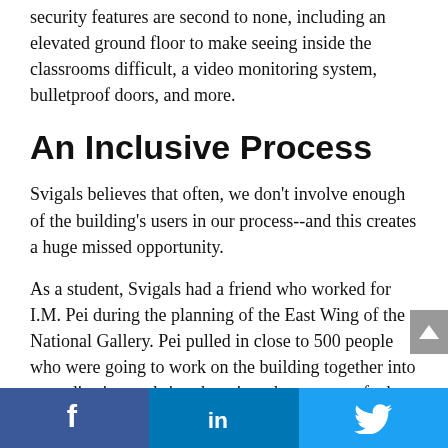security features are second to none, including an elevated ground floor to make seeing inside the classrooms difficult, a video monitoring system, bulletproof doors, and more.
An Inclusive Process
Svigals believes that often, we don't involve enough of the building's users in our process--and this creates a huge missed opportunity.
As a student, Svigals had a friend who worked for I.M. Pei during the planning of the East Wing of the National Gallery. Pei pulled in close to 500 people who were going to work on the building together into an auditorium to bring them into the process of what it means to make a success. It's no surprise ...staying
Facebook | LinkedIn | Twitter social share bar